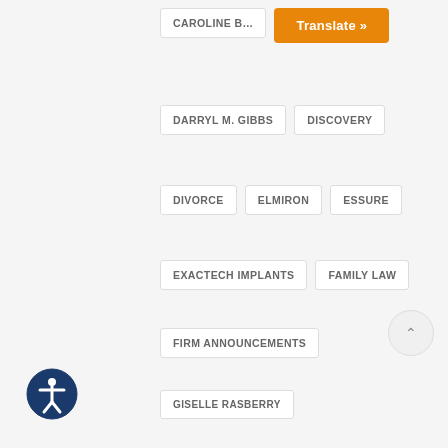Translate »
CAROLINE B…
DARRYL M. GIBBS
DISCOVERY
DIVORCE
ELMIRON
ESSURE
EXACTECH IMPLANTS
FAMILY LAW
FIRM ANNOUNCEMENTS
GISELLE RASBERRY
HELPFUL INFORMATION
IMMIGRATION
JONATHAN BARLOW
JUUL LAWSUITS
MARSHALL GOFF
MOTORCYCLE ACCIDENT